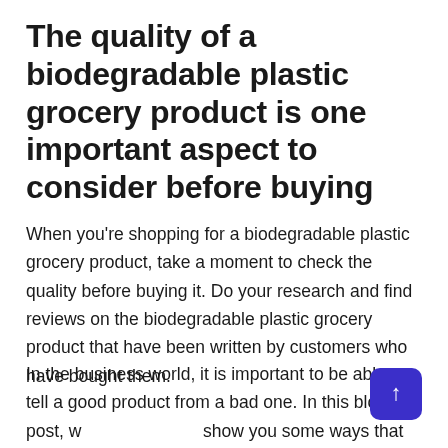The quality of a biodegradable plastic grocery product is one important aspect to consider before buying
When you're shopping for a biodegradable plastic grocery product, take a moment to check the quality before buying it. Do your research and find reviews on the biodegradable plastic grocery product that have been written by customers who have bought them.
In the business world, it is important to be able to tell a good product from a bad one. In this blog post, we show you some ways that you can check biodegradable plastic grocery products quality before